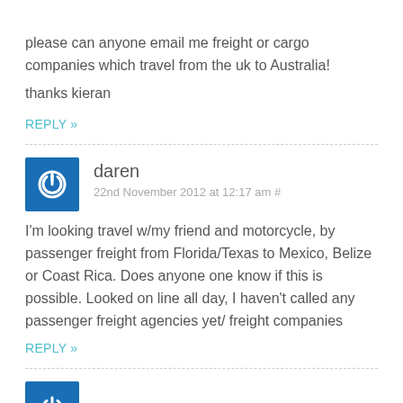please can anyone email me freight or cargo companies which travel from the uk to Australia!

thanks kieran
REPLY »
daren
22nd November 2012 at 12:17 am #
I'm looking travel w/my friend and motorcycle, by passenger freight from Florida/Texas to Mexico, Belize or Coast Rica. Does anyone one know if this is possible. Looked on line all day, I haven't called any passenger freight agencies yet/ freight companies
REPLY »